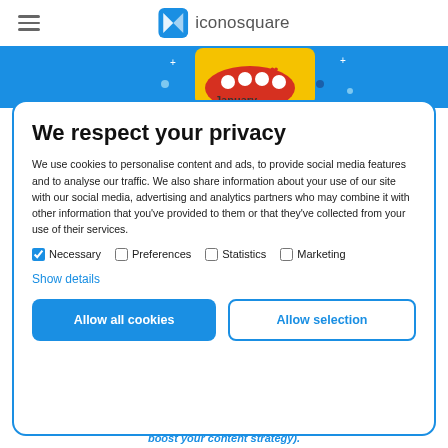iconosquare
[Figure (screenshot): Blue banner with red icon and January text, partially visible]
We respect your privacy
We use cookies to personalise content and ads, to provide social media features and to analyse our traffic. We also share information about your use of our site with our social media, advertising and analytics partners who may combine it with other information that you've provided to them or that they've collected from your use of their services.
Necessary  Preferences  Statistics  Marketing
Show details
Allow all cookies  Allow selection
boost your content strategy).